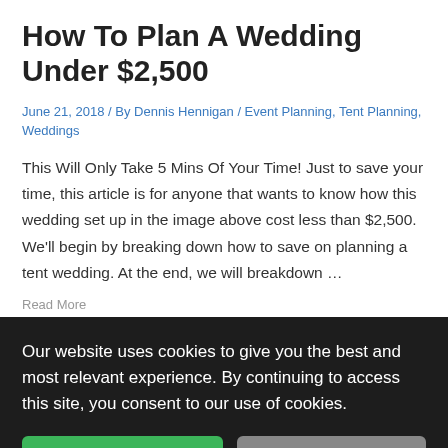How To Plan A Wedding Under $2,500
June 21, 2018 / By Dennis Hennigan / Event Planning, Tent Planning, Weddings
This Will Only Take 5 Mins Of Your Time! Just to save your time, this article is for anyone that wants to know how this wedding set up in the image above cost less than $2,500. We'll begin by breaking down how to save on planning a tent wedding. At the end, we will breakdown …
Our website uses cookies to give you the best and most relevant experience. By continuing to access this site, you consent to our use of cookies.
5 Weddings … $5…
May 16, 2018 / By Dennis Hennigan / Off-Beat Weddings